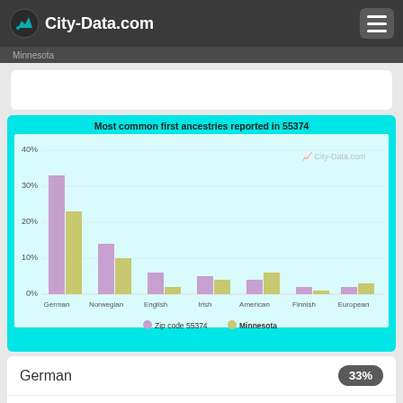City-Data.com
[Figure (grouped-bar-chart): Most common first ancestries reported in 55374]
German 33%
Norwegian
English 6%